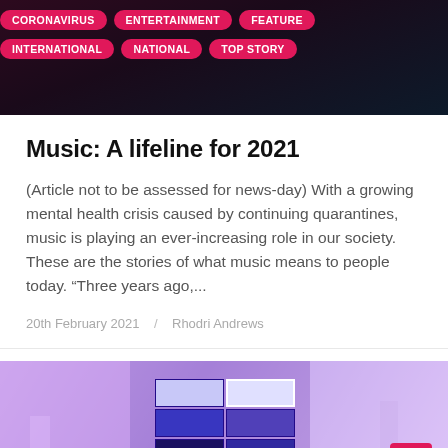[Figure (photo): Dark background image with pink/magenta tags overlaid: CORONAVIRUS, ENTERTAINMENT, FEATURE, INTERNATIONAL, NATIONAL, TOP STORY]
Music: A lifeline for 2021
(Article not to be assessed for news-day) With a growing mental health crisis caused by continuing quarantines, music is playing an ever-increasing role in our society. These are the stories of what music means to people today. “Three years ago,...
20th February 2021 / Rhodri Andrews
[Figure (photo): Purple/violet room with a cross-shaped array of screens showing various blue-lit images, interior room scene]